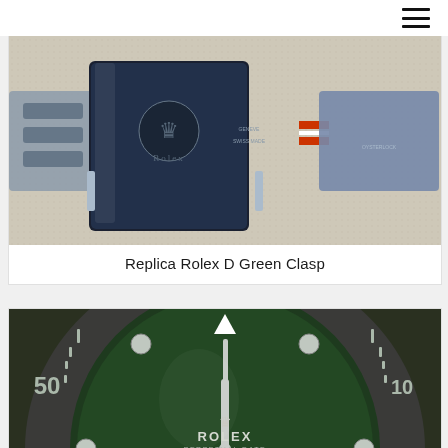[Figure (photo): Close-up photo of a Rolex watch clasp (folding deployant clasp) in stainless steel, showing the Rolex crown logo engraved on the black PVD-coated clasp plate, with red accent stripe visible. The clasp is resting on a white/cream cloth.]
Replica Rolex D Green Clasp
[Figure (photo): Close-up photo of a Rolex Submariner watch face showing the green dial, ceramic bezel with white markers and '50' visible on the left side, white triangle at 12 o'clock, circular hour markers, watch hands, Rolex crown logo, and text 'ROLEX PERPETUAL DATE' at the bottom of the dial.]